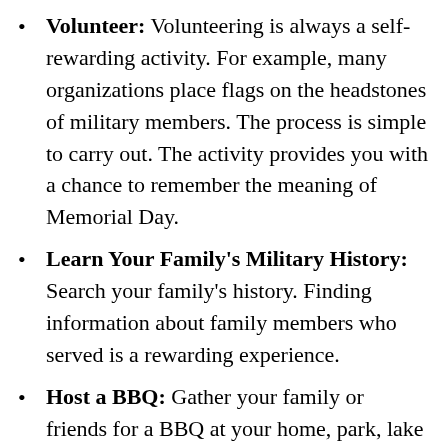Volunteer: Volunteering is always a self-rewarding activity. For example, many organizations place flags on the headstones of military members. The process is simple to carry out. The activity provides you with a chance to remember the meaning of Memorial Day.
Learn Your Family's Military History: Search your family's history. Finding information about family members who served is a rewarding experience.
Host a BBQ: Gather your family or friends for a BBQ at your home, park, lake or other areas of interest. When serving, take a moment to toast those who have fallen in service.
Be Thankful: Whether you chose to travel,